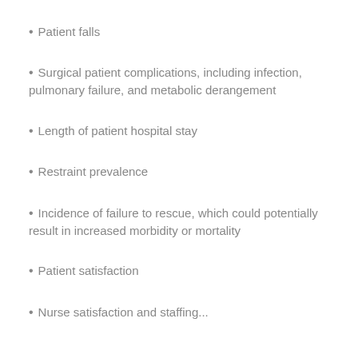Patient falls
Surgical patient complications, including infection, pulmonary failure, and metabolic derangement
Length of patient hospital stay
Restraint prevalence
Incidence of failure to rescue, which could potentially result in increased morbidity or mortality
Patient satisfaction
Nurse satisfaction and staffing...